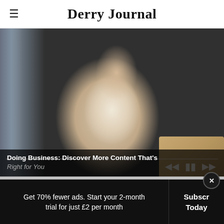≡  Derry Journal
[Figure (screenshot): Man in white shirt smiling while talking on phone, seated at desk with laptop. Video player interface with progress bar and playback controls visible. Caption overlay reads 'Doing Business: Discover More Content That's Right for You'.]
Doing Business: Discover More Content That's Right for You
Get 70% fewer ads. Start your 2-month trial for just £2 per month
Subscribe Today